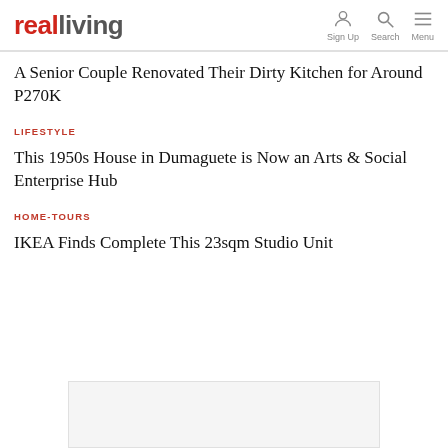realliving — Sign Up | Search | Menu
A Senior Couple Renovated Their Dirty Kitchen for Around P270K
LIFESTYLE
This 1950s House in Dumaguete is Now an Arts & Social Enterprise Hub
HOME-TOURS
IKEA Finds Complete This 23sqm Studio Unit
[Figure (other): Advertisement placeholder banner at bottom of page]